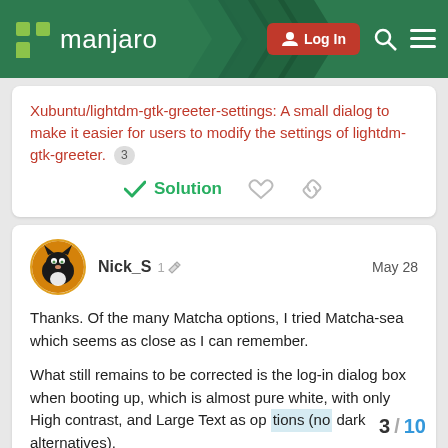manjaro — Log In
Xubuntu/lightdm-gtk-greeter-settings: A small dialog to make it easier for users to modify the settings of lightdm-gtk-greeter. 3
Solution
Nick_S  1 ✏  May 28
Thanks. Of the many Matcha options, I tried Matcha-sea which seems as close as I can remember.

What still remains to be corrected is the log-in dialog box when booting up, which is almost pure white, with only High contrast, and Large Text as options (no dark alternatives).
3 / 10